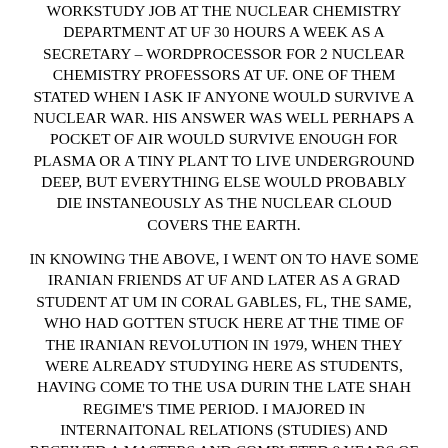WORKSTUDY JOB AT THE NUCLEAR CHEMISTRY DEPARTMENT AT UF 30 HOURS A WEEK AS A SECRETARY – WORDPROCESSOR FOR 2 NUCLEAR CHEMISTRY PROFESSORS AT UF. ONE OF THEM STATED WHEN I ASK IF ANYONE WOULD SURVIVE A NUCLEAR WAR. HIS ANSWER WAS WELL PERHAPS A POCKET OF AIR WOULD SURVIVE ENOUGH FOR PLASMA OR A TINY PLANT TO LIVE UNDERGROUND DEEP, BUT EVERYTHING ELSE WOULD PROBABLY DIE INSTANEOUSLY AS THE NUCLEAR CLOUD COVERS THE EARTH.
IN KNOWING THE ABOVE, I WENT ON TO HAVE SOME IRANIAN FRIENDS AT UF AND LATER AS A GRAD STUDENT AT UM IN CORAL GABLES, FL, THE SAME, WHO HAD GOTTEN STUCK HERE AT THE TIME OF THE IRANIAN REVOLUTION IN 1979, WHEN THEY WERE ALREADY STUDYING HERE AS STUDENTS, HAVING COME TO THE USA DURIN THE LATE SHAH REGIME'S TIME PERIOD. I MAJORED IN INTERNAITONAL RELATIONS (STUDIES) AND RECEIVED A MASTERS AND COMPLETED 8 YEARS OF PH.D.STUDIES PASSING THE PH.D. EXAMS BY MAY 1997. I NEVER COMPLETED THE PH.D. DUE TO SENSITIVIEY ABOUT THE PH.D. RESEARCH TOPIC CONCERNING THE INTERNATIONAL DRUG TRADE